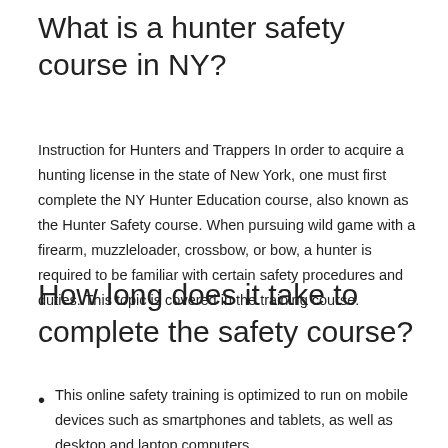What is a hunter safety course in NY?
Instruction for Hunters and Trappers In order to acquire a hunting license in the state of New York, one must first complete the NY Hunter Education course, also known as the Hunter Safety course. When pursuing wild game with a firearm, muzzleloader, crossbow, or bow, a hunter is required to be familiar with certain safety procedures and duties. This topic is covered in the training course.
How long does it take to complete the safety course?
This online safety training is optimized to run on mobile devices such as smartphones and tablets, as well as desktop and laptop computers.